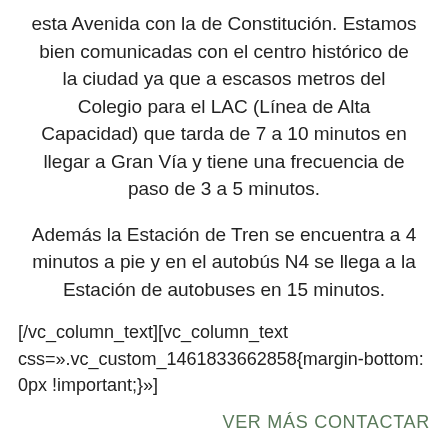esta Avenida con la de Constitución. Estamos bien comunicadas con el centro histórico de la ciudad ya que a escasos metros del Colegio para el LAC (Línea de Alta Capacidad) que tarda de 7 a 10 minutos en llegar a Gran Vía y tiene una frecuencia de paso de 3 a 5 minutos.
Además la Estación de Tren se encuentra a 4 minutos a pie y en el autobús N4 se llega a la Estación de autobuses en 15 minutos.
[/vc_column_text][vc_column_text css=».vc_custom_1461833662858{margin-bottom: 0px !important;}»]
VER MÁS CONTACTAR
[/vc_column_text][/vc_column_inner] [vc_column_inner     el_class=»horario-home»